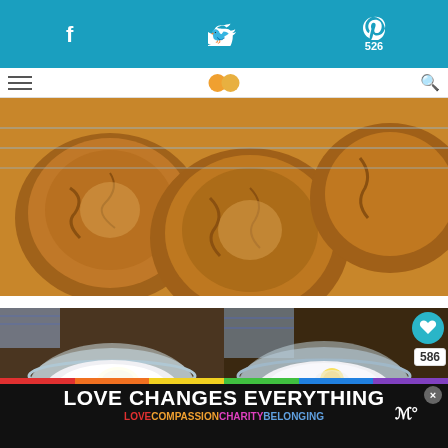Social sharing bar with Facebook, Twitter, Pinterest (526)
[Figure (photo): Overhead view of large crinkled ginger/molasses cookies on a wire cooling rack, close-up showing craggy brown sugar-coated tops]
[Figure (photo): Step-by-step cooking photos: left shows a glass bowl with white sugar and shortening; right shows a glass bowl with flour, an egg, and other ingredients. Heart button, 586 count, share button, and WHAT'S NEXT panel for Chipotle-Lime Flank Steak are overlaid on the right photo.]
[Figure (infographic): Bottom banner ad: LOVE CHANGES EVERYTHING in white bold text on dark background with rainbow strip, followed by LOVE COMPASSION CHARITY BELONGING in colored text. Meal planning logo at right.]